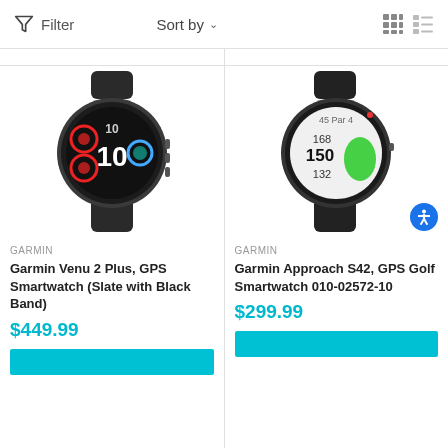Filter   Sort by ∨   ⊞  ≡
[Figure (photo): Garmin Venu 2 Plus smartwatch with dark gray/slate case and black band, showing a dark watch face with colorful circular fitness widgets and '10' displayed]
GARMIN
Garmin Venu 2 Plus, GPS Smartwatch (Slate with Black Band)
$449.99
[Figure (photo): Garmin Approach S42 GPS Golf Smartwatch with black case and band, showing white watch face with golf course distances 168, 150, 132 and a green golf course graphic]
GARMIN
Garmin Approach S42, GPS Golf Smartwatch 010-02572-10
$299.99